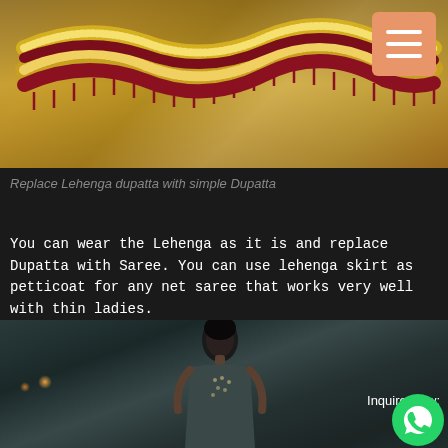[Figure (photo): Close-up photo of decorative lehenga accessories with gold glitter and red velvet fringe on a sandy/golden background. A hamburger menu button (orange) is visible in the top-right corner.]
Replace Lehenga dupatta with simple Dupatta
You can wear the Lehenga as it is and replace Dupatta with Saree. You can use lehenga skirt as petticoat for any net saree that works very well with thin ladies.
[Figure (photo): Photo of a female model wearing a traditional Indian outfit (possibly a saree) with embellishments, standing in a dark interior setting. Includes an 'Inquire Now:' text and WhatsApp button overlay.]